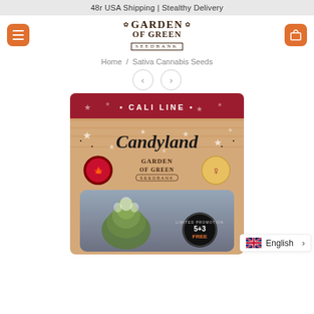48r USA Shipping | Stealthy Delivery
[Figure (logo): Garden of Green Seedbank logo with decorative leaf motifs]
Home / Sativa Cannabis Seeds
[Figure (photo): Candyland cannabis seed product packaging from Garden of Green Seedbank, Cali Line series, showing a patriotic American-themed design with stars, wooden texture background, a female symbol badge, a Canadian badge, and a 5+3 FREE promotional badge with a photo of a cannabis plant]
English